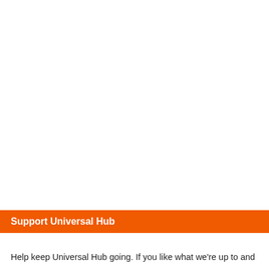Support Universal Hub
Help keep Universal Hub going. If you like what we're up to and